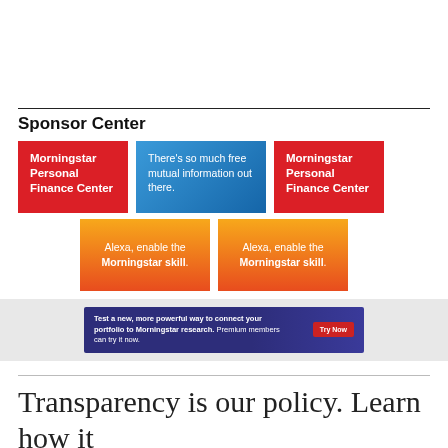Sponsor Center
[Figure (illustration): Three advertisement banners in a row: two red 'Morningstar Personal Finance Center' banners and one blue 'There's so much free mutual information out there.' banner]
[Figure (illustration): Two orange gradient 'Alexa, enable the Morningstar skill.' advertisement banners side by side]
[Figure (illustration): Dark blue banner: 'Test a new, more powerful way to connect your portfolio to Morningstar research. Premium members can try it now.' with a red 'Try Now' button]
Transparency is our policy. Learn how it